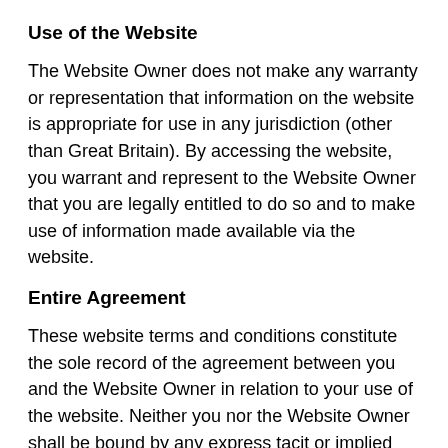Use of the Website
The Website Owner does not make any warranty or representation that information on the website is appropriate for use in any jurisdiction (other than Great Britain). By accessing the website, you warrant and represent to the Website Owner that you are legally entitled to do so and to make use of information made available via the website.
Entire Agreement
These website terms and conditions constitute the sole record of the agreement between you and the Website Owner in relation to your use of the website. Neither you nor the Website Owner shall be bound by any express tacit or implied representation, warranty, promise or the like not recorded herein. Unless otherwise specifically stated these website terms and conditions supersede and replace all